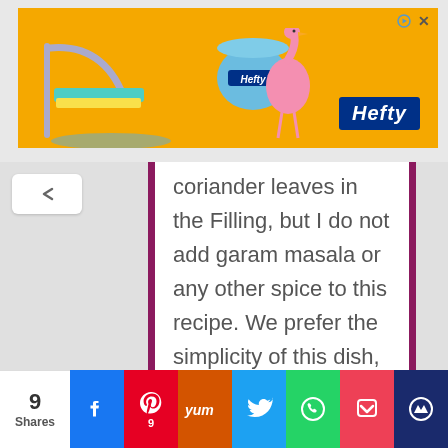[Figure (photo): Orange Hefty advertisement banner with pool slide and flamingo cup imagery and Hefty logo in blue on right side]
coriander leaves in the Filling, but I do not add garam masala or any other spice to this recipe. We prefer the simplicity of this dish, letting the radish flavor do full justice to our taste buds.
[Figure (infographic): Social sharing bar with 9 Shares count, Facebook, Pinterest (9), Yummly, Twitter, WhatsApp, Pocket, and crown/bookmark buttons]